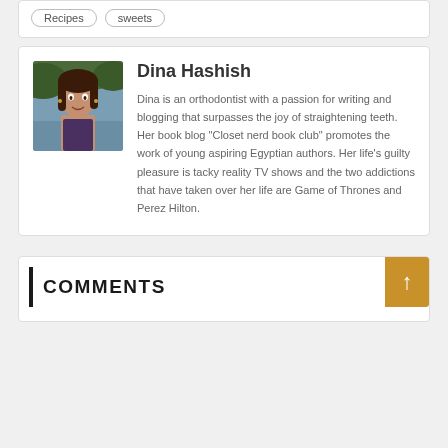Recipes
sweets
Dina Hashish
Dina is an orthodontist with a passion for writing and blogging that surpasses the joy of straightening teeth. Her book blog “Closet nerd book club” promotes the work of young aspiring Egyptian authors. Her life’s guilty pleasure is tacky reality TV shows and the two addictions that have taken over her life are Game of Thrones and Perez Hilton.
COMMENTS